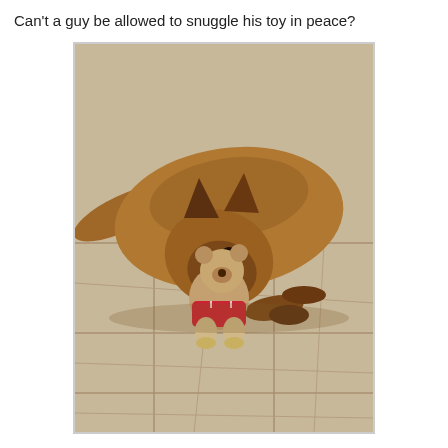Can't a guy be allowed to snuggle his toy in peace?
[Figure (photo): A German Shepherd dog lying on a tile floor, cuddling a stuffed teddy bear toy dressed in a red outfit]